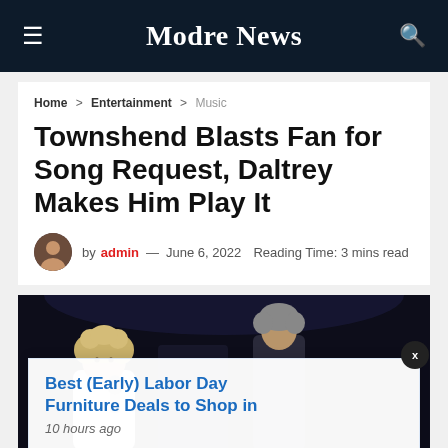Modre News
Home > Entertainment > Music
Townshend Blasts Fan for Song Request, Daltrey Makes Him Play It
by admin — June 6, 2022  Reading Time: 3 mins read
[Figure (photo): Concert photo showing two performers on a dark stage; a woman with curly blonde hair holding a microphone in the foreground and a man in the background]
Best (Early) Labor Day Furniture Deals to Shop in